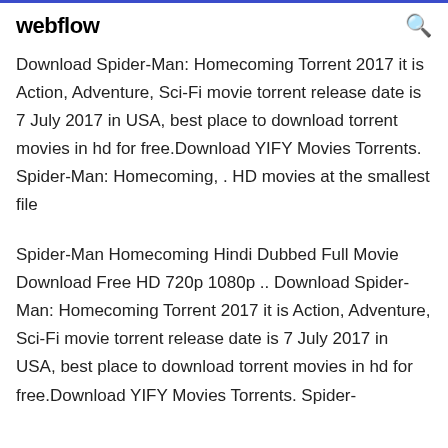webflow
Download Spider-Man: Homecoming Torrent 2017 it is Action, Adventure, Sci-Fi movie torrent release date is 7 July 2017 in USA, best place to download torrent movies in hd for free.Download YIFY Movies Torrents. Spider-Man: Homecoming, . HD movies at the smallest file
Spider-Man Homecoming Hindi Dubbed Full Movie Download Free HD 720p 1080p .. Download Spider-Man: Homecoming Torrent 2017 it is Action, Adventure, Sci-Fi movie torrent release date is 7 July 2017 in USA, best place to download torrent movies in hd for free.Download YIFY Movies Torrents. Spider-